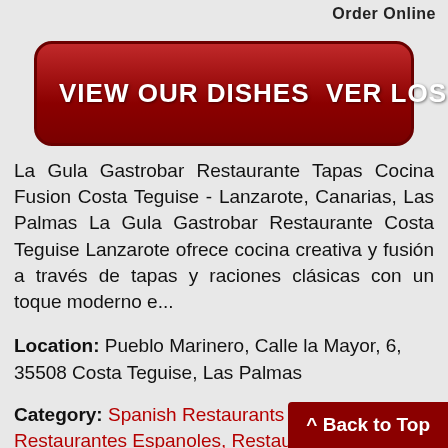Order Online
[Figure (illustration): Red rounded button with white bold text: VIEW OUR DISHES VER LOS PLATOS with a right arrow icon]
La Gula Gastrobar Restaurante Tapas Cocina Fusion Costa Teguise - Lanzarote, Canarias, Las Palmas La Gula Gastrobar Restaurante Costa Teguise Lanzarote ofrece cocina creativa y fusión a través de tapas y raciones clásicas con un toque moderno e...
Location: Pueblo Marinero, Calle la Mayor, 6, 35508 Costa Teguise, Las Palmas
Category: Spanish Restaurants | Tapas, Tapas y Restaurantes Espanoles, Restaurantes Costa Teguise, Restaurantes Elegantes Lanzarote, Los Mejores Restaurantes en Lanzarote
Cuisine: Asian Fusion Spanish Cuisine, International Cuisine,